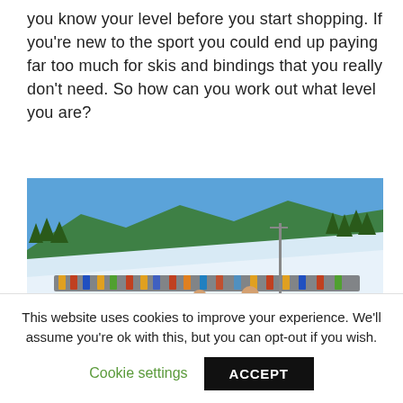you know your level before you start shopping. If you're new to the sport you could end up paying far too much for skis and bindings that you really don't need. So how can you work out what level you are?
[Figure (photo): Outdoor winter ski resort scene with skiers and instructors on a snowy slope. A ski instructor in a red jacket stands prominently in the foreground with groups of skiers, including children, around. Snowy mountains, pine trees, and a blue sky are visible in the background.]
This website uses cookies to improve your experience. We'll assume you're ok with this, but you can opt-out if you wish.
Cookie settings
ACCEPT